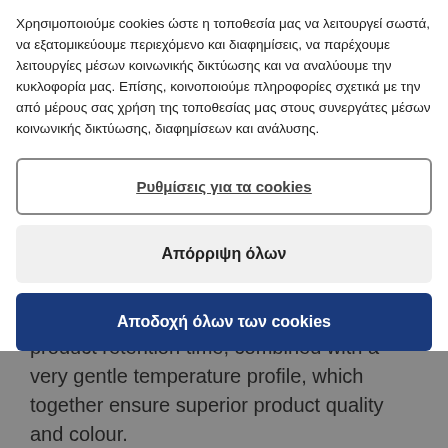Χρησιμοποιούμε cookies ώστε η τοποθεσία μας να λειτουργεί σωστά, να εξατομικεύουμε περιεχόμενο και διαφημίσεις, να παρέχουμε λειτουργίες μέσων κοινωνικής δικτύωσης και να αναλύουμε την κυκλοφορία μας. Επίσης, κοινοποιούμε πληροφορίες σχετικά με την από μέρους σας χρήση της τοποθεσίας μας στους συνεργάτες μέσων κοινωνικής δικτύωσης, διαφημίσεων και ανάλυσης.
Ρυθμίσεις για τα cookies
Απόρριψη όλων
Αποδοχή όλων των cookies
product retention time, combined with a very gentle temperature profile, which together ensure superior product quality and colour.